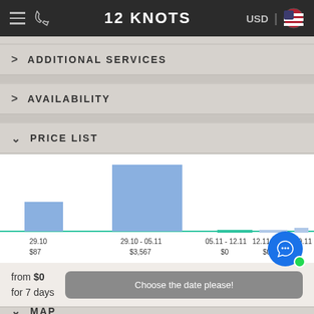12 KNOTS
ADDITIONAL SERVICES
AVAILABILITY
PRICE LIST
[Figure (bar-chart): Bar chart showing price list with blue bars for 29.10 (~$187) and 29.10-05.11 (~$3,567), green bar for 05.11-12.11 ($0), light blue bars for 12.11-19.11 ($0) and 19.11]
from $0
for 7 days
Choose the date please!